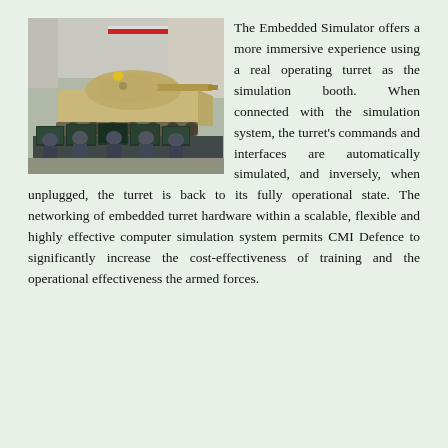[Figure (photo): A military tank (armored fighting vehicle with large gun turret) displayed in a hangar/exhibition hall, with personnel seated at computer workstations in front of it, working on simulation systems.]
The Embedded Simulator offers a more immersive experience using a real operating turret as the simulation booth. When connected with the simulation system, the turret's commands and interfaces are automatically simulated, and inversely, when unplugged, the turret is back to its fully operational state. The networking of embedded turret hardware within a scalable, flexible and highly effective computer simulation system permits CMI Defence to significantly increase the cost-effectiveness of training and the operational effectiveness the armed forces.